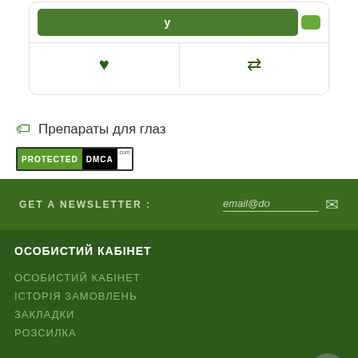[Figure (screenshot): UI card with buy button, heart/wishlist icon, and compare arrows icon]
Препараты для глаз
[Figure (logo): PROTECTED DMCA badge]
GET A NEWSLETTER :
email@do
ОСОБИСТИЙ КАБІНЕТ
ОСОБИСТИЙ КАБІНЕТ
ІСТОРІЯ ЗАМОВЛЕНЬ
ЗАКЛАДКИ
РОЗСИЛКА